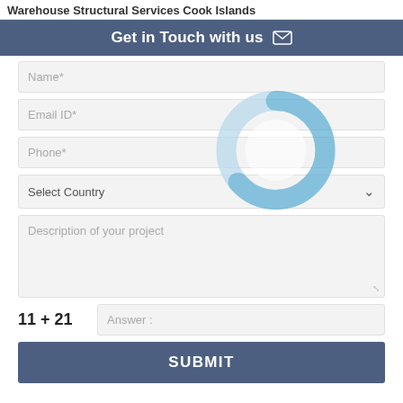Warehouse Structural Services Cook Islands
Get in Touch with us ✉
[Figure (other): Circular loading spinner / donut ring graphic in light blue overlaying the contact form fields]
Name*
Email ID*
Phone*
Select Country
Description of your project
Answer :
SUBMIT